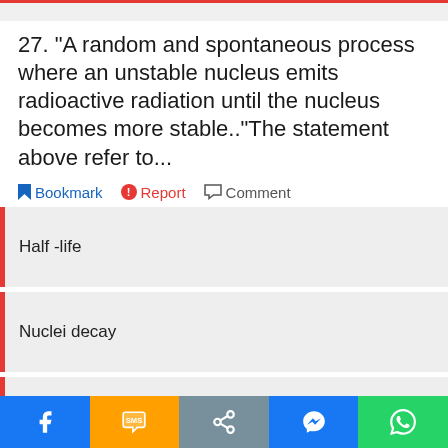27. "A random and spontaneous process where an unstable nucleus emits radioactive radiation until the nucleus becomes more stable.."The statement above refer to...
Half -life
Nuclei decay
Radioactivity